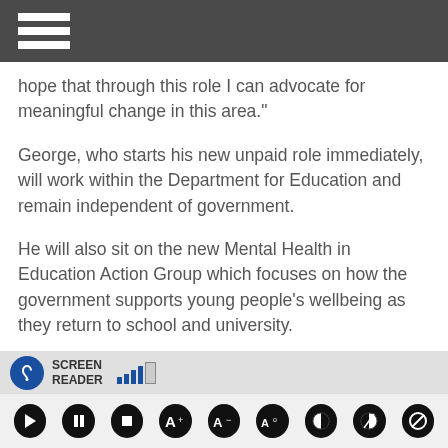hope that through this role I can advocate for meaningful change in this area."
George, who starts his new unpaid role immediately, will work within the Department for Education and remain independent of government.
He will also sit on the new Mental Health in Education Action Group which focuses on how the government supports young people's wellbeing as they return to school and university.
Dr Alex George appeared on Love Island in 2018
[Figure (screenshot): Screen reader toolbar with icon, SCREEN READER label, signal bars, playback controls including play, pause, stop, font size, contrast, and other accessibility buttons]